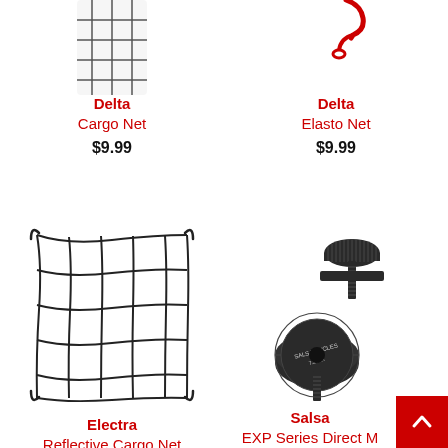[Figure (photo): Delta Cargo Net product image (partially cropped at top)]
Delta
Cargo Net
$9.99
[Figure (photo): Delta Elasto Net product image (partially cropped at top, red hook visible)]
Delta
Elasto Net
$9.99
[Figure (photo): Electra Reflective Cargo Net - black bungee cargo net with hooks at corners]
Electra
Reflective Cargo Net
[Figure (photo): Salsa EXP Series Direct Mount Thumb Screw - two black thumb screws]
Salsa
EXP Series Direct Mount Thumb Screw